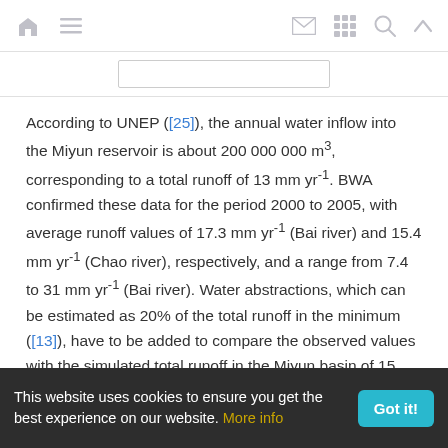Navigation bar with home, menu, mail, grid, search, and up icons
According to UNEP ([25]), the annual water inflow into the Miyun reservoir is about 200 000 000 m3, corresponding to a total runoff of 13 mm yr-1. BWA confirmed these data for the period 2000 to 2005, with average runoff values of 17.3 mm yr-1 (Bai river) and 15.4 mm yr-1 (Chao river), respectively, and a range from 7.4 to 31 mm yr-1 (Bai river). Water abstractions, which can be estimated as 20% of the total runoff in the minimum ([13]), have to be added to compare the observed values with the simulated total runoff in the Miyun basin of 15 mm yr-1. According to these estimations, the simulation results are in good agreement with the range reported in the
This website uses cookies to ensure you get the best experience on our website. More info | Got it!